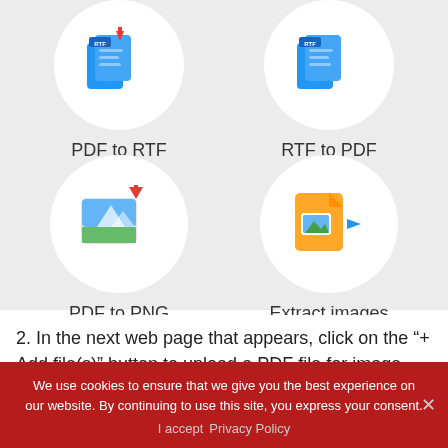[Figure (screenshot): Two rows of conversion tool icons in circles on a light gray background. Top row (partially visible): PDF to RTF icon (blue document with red arrow, RTF label) and RTF to PDF icon (blue RTF document). Bottom row: PDF to PNG icon (image with red arrow and green bar) and Extract images icon (orange document with image and blue arrow). Each icon has a label below it.]
2. In the next web page that appears, click on the “+ Add file(s)” button to upload a PDF file for image extraction. You also may drag an image
We use cookies to ensure that we give you the best experience on our website. By continuing to use this site, you express your consent.
I accept  Privacy Policy